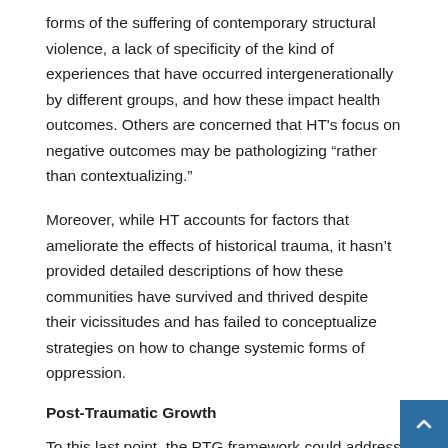forms of the suffering of contemporary structural violence, a lack of specificity of the kind of experiences that have occurred intergenerationally by different groups, and how these impact health outcomes. Others are concerned that HT's focus on negative outcomes may be pathologizing “rather than contextualizing.”
Moreover, while HT accounts for factors that ameliorate the effects of historical trauma, it hasn’t provided detailed descriptions of how these communities have survived and thrived despite their vicissitudes and has failed to conceptualize strategies on how to change systemic forms of oppression.
Post-Traumatic Growth
To this last point, the PTG framework could address this limitation as it focuses on the cognitive and personality